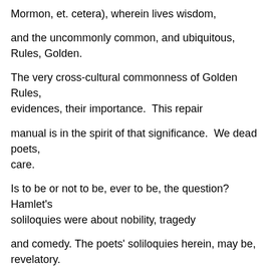Mormon, et. cetera), wherein lives wisdom,
and the uncommonly common, and ubiquitous, Rules, Golden.
The very cross-cultural commonness of Golden Rules, evidences, their importance.  This repair
manual is in the spirit of that significance.  We dead poets, care.
Is to be or not to be, ever to be, the question?  Hamlet's soliloquies were about nobility, tragedy
and comedy. The poets' soliloquies herein, may be, revelatory.
The children of Lord Allah/God/Jehovah/Yahweh are our blood brothers and sisters before Him.